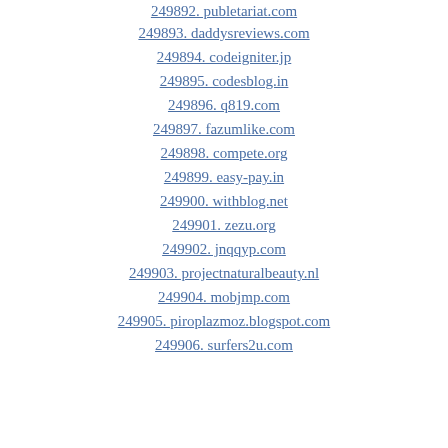249892. publetariat.com
249893. daddysreviews.com
249894. codeigniter.jp
249895. codesblog.in
249896. q819.com
249897. fazumlike.com
249898. compete.org
249899. easy-pay.in
249900. withblog.net
249901. zezu.org
249902. jnqqyp.com
249903. projectnaturalbeauty.nl
249904. mobjmp.com
249905. piroplazmoz.blogspot.com
249906. surfers2u.com